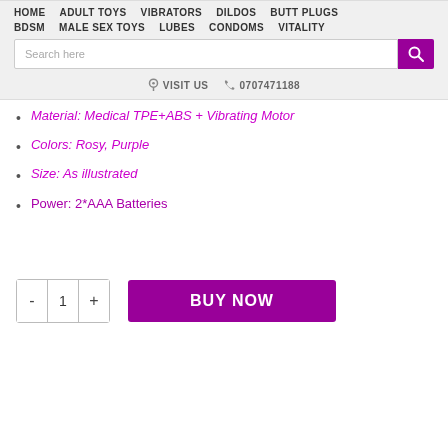HOME  ADULT TOYS  VIBRATORS  DILDOS  BUTT PLUGS  BDSM  MALE SEX TOYS  LUBES  CONDOMS  VITALITY
Material: Medical TPE+ABS + Vibrating Motor
Colors: Rosy, Purple
Size: As illustrated
Power: 2*AAA Batteries